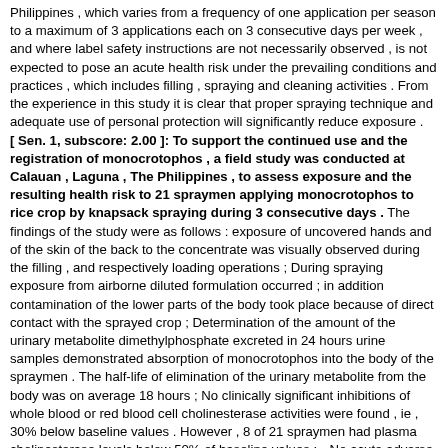Philippines , which varies from a frequency of one application per season to a maximum of 3 applications each on 3 consecutive days per week , and where label safety instructions are not necessarily observed , is not expected to pose an acute health risk under the prevailing conditions and practices , which includes filling , spraying and cleaning activities . From the experience in this study it is clear that proper spraying technique and adequate use of personal protection will significantly reduce exposure . [ Sen. 1, subscore: 2.00 ]: To support the continued use and the registration of monocrotophos , a field study was conducted at Calauan , Laguna , The Philippines , to assess exposure and the resulting health risk to 21 spraymen applying monocrotophos to rice crop by knapsack spraying during 3 consecutive days . The findings of the study were as follows : exposure of uncovered hands and of the skin of the back to the concentrate was visually observed during the filling , and respectively loading operations ; During spraying exposure from airborne diluted formulation occurred ; in addition contamination of the lower parts of the body took place because of direct contact with the sprayed crop ; Determination of the amount of the urinary metabolite dimethylphosphate excreted in 24 hours urine samples demonstrated absorption of monocrotophos into the body of the spraymen . The half-life of elimination of the urinary metabolite from the body was on average 18 hours ; No clinically significant inhibitions of whole blood or red blood cell cholinesterase activities were found , ie , 30% below baseline values . However , 8 of 21 spraymen had plasma cholinesterase levels below 50% of baseline values ; --No acute adverse health effects associated with the application of monocrotophos were observed , which was in accordance with the absence of clinically significant cholinesterase depressions . The conclusion of the study was that the use of monocrotophos under prevailing typical conditions in the Philippines , which varies from a frequency of one application per season...